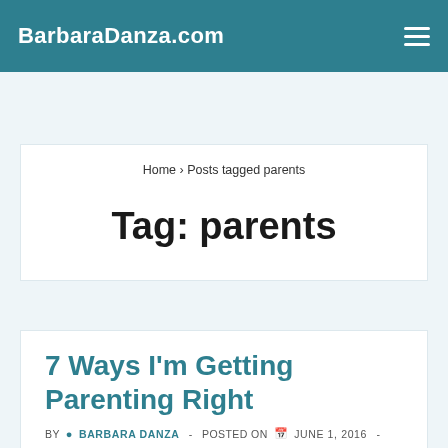BarbaraDanza.com
Home › Posts tagged parents
Tag: parents
7 Ways I'm Getting Parenting Right
BY  BARBARA DANZA  -  POSTED ON  JUNE 1, 2016  -